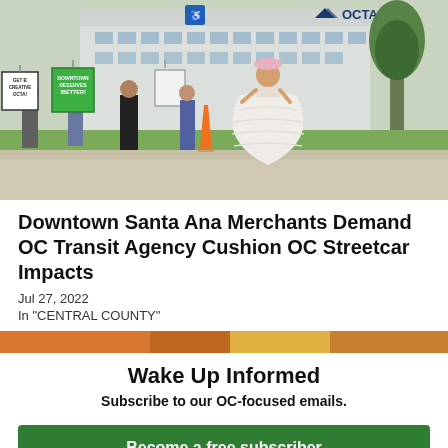[Figure (photo): Protesters marching outside the OCTA (Orange County Transportation Authority) building, holding signs reading 'GET B CREATIVE OCTA!' and 'DOWNTOWN DESERVES BETTER!'. A person in a large white quinceañera dress is visible among the crowd.]
Downtown Santa Ana Merchants Demand OC Transit Agency Cushion OC Streetcar Impacts
Jul 27, 2022
In "CENTRAL COUNTY"
[Figure (photo): Partial image of food items, partially cropped at bottom of visible area.]
Wake Up Informed
Subscribe to our OC-focused emails.
Become a free subscriber
Not today